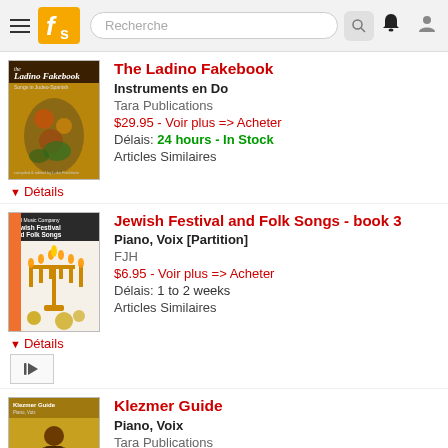Recherche
[Figure (screenshot): Book cover: The Ladino Fakebook - Songs in Judeo-Spanish, colorful floral painting cover]
The Ladino Fakebook
Instruments en Do
Tara Publications
$29.95 - Voir plus => Acheter
Délais: 24 hours - In Stock
Articles Similaires
Détails
[Figure (screenshot): Book cover: Jewish Festival and Folk Songs book 3 - Piano, Voix, FJH, showing a menorah]
Jewish Festival and Folk Songs - book 3
Piano, Voix [Partition]
FJH
$6.95 - Voir plus => Acheter
Délais: 1 to 2 weeks
Articles Similaires
Détails
[Figure (screenshot): Book cover: Klezmer Guide - Piano, Voix, Tara Publications, showing a musician]
Klezmer Guide
Piano, Voix
Tara Publications
$29.95 - Voir plus => Acheter
Délais: 24 hours - In Stock